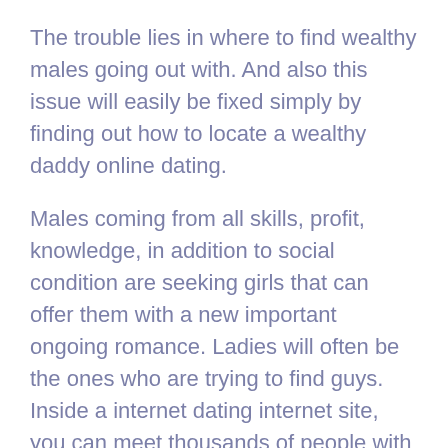The trouble lies in where to find wealthy males going out with. And also this issue will easily be fixed simply by finding out how to locate a wealthy daddy online dating.
Males coming from all skills, profit, knowledge, in addition to social condition are seeking girls that can offer them with a new important ongoing romance. Ladies will often be the ones who are trying to find guys. Inside a internet dating internet site, you can meet thousands of people with to whom you are able to show and pay attention to read more about by yourself. The world wide web is an excellent destination to get adult men thus far. Those tips listed here provides you with how to find some sort of abundant daddy internet